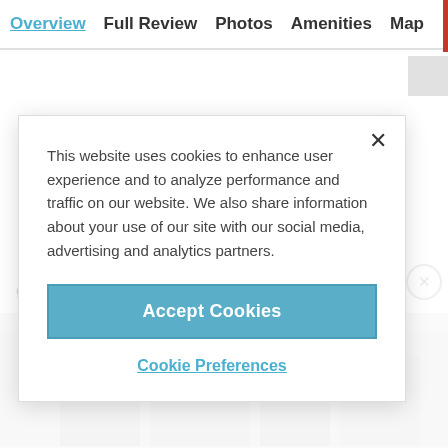Overview  Full Review  Photos  Amenities  Map
This website uses cookies to enhance user experience and to analyze performance and traffic on our website. We also share information about your use of our site with our social media, advertising and analytics partners.
Accept Cookies
Cookie Preferences
genetically-blessed Tom Brady (I swear,...
ADVERTISEMENT